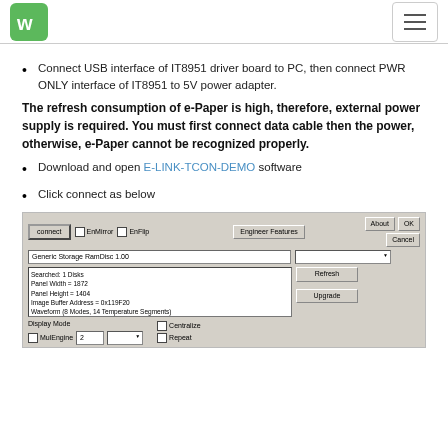Waveshare logo and navigation menu
Connect USB interface of IT8951 driver board to PC, then connect PWR ONLY interface of IT8951 to 5V power adapter.
The refresh consumption of e-Paper is high, therefore, external power supply is required. You must first connect data cable then the power, otherwise, e-Paper cannot be recognized properly.
Download and open E-LINK-TCON-DEMO software
Click connect as below
[Figure (screenshot): E-LINK-TCON-DEMO software interface showing connect button, Engineer Features panel, display mode options, refresh/upgrade buttons, and device info text area with panel specs.]